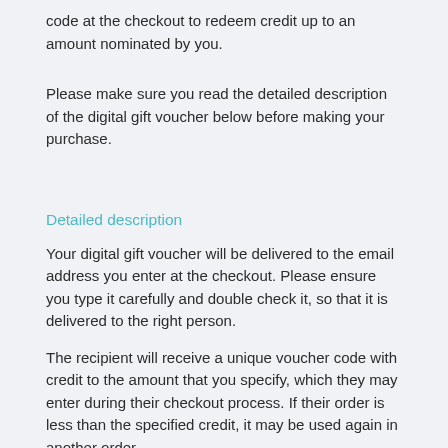code at the checkout to redeem credit up to an amount nominated by you.
Please make sure you read the detailed description of the digital gift voucher below before making your purchase.
Detailed description
Your digital gift voucher will be delivered to the email address you enter at the checkout. Please ensure you type it carefully and double check it, so that it is delivered to the right person.
The recipient will receive a unique voucher code with credit to the amount that you specify, which they may enter during their checkout process. If their order is less than the specified credit, it may be used again in another order.